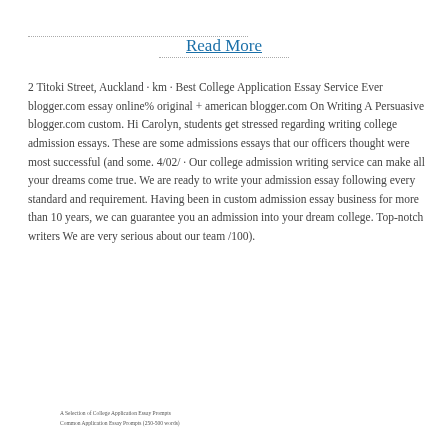Read More
2 Titoki Street, Auckland · km · Best College Application Essay Service Ever blogger.com essay online% original + american blogger.com On Writing A Persuasive blogger.com custom. Hi Carolyn, students get stressed regarding writing college admission essays. These are some admissions essays that our officers thought were most successful (and some. 4/02/ · Our college admission writing service can make all your dreams come true. We are ready to write your admission essay following every standard and requirement. Having been in custom admission essay business for more than 10 years, we can guarantee you an admission into your dream college. Top-notch writers We are very serious about our team /100).
A Selection of College Application Essay Prompts
Common Application Essay Prompts (250-500 words)